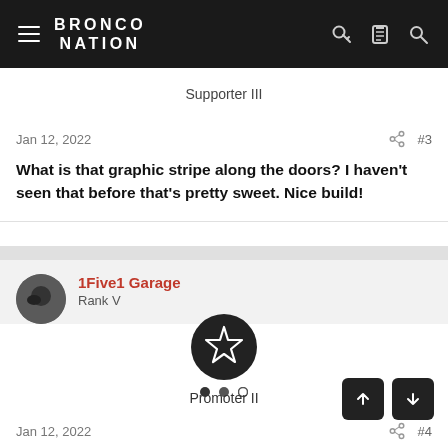BRONCO NATION
Supporter III
Jan 12, 2022  #3
What is that graphic stripe along the doors? I haven't seen that before that's pretty sweet. Nice build!
1Five1 Garage
Rank V
[Figure (illustration): Dark circular badge with star outline icon and three dots below]
Promoter II
Jan 12, 2022  #4